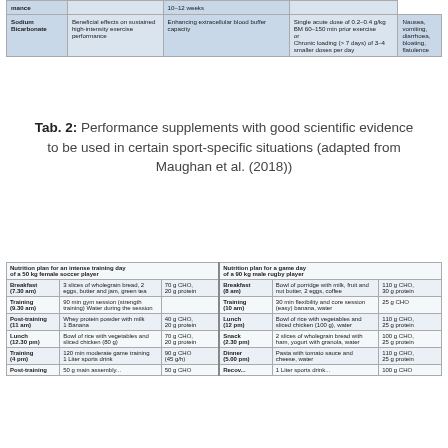|  | mance |  | 10–12 weeks |
| --- | --- | --- | --- |
| Sodium Bicarbonate | Beneficial effects on sustained high-intensity exercise performance | Enhancing extracellular blood buffer capacity | Single acute dose of 0.2–0.4 g/kg BM 60–150 min prior exercise
or
Chronic loading (> 7 days) of 3–4 smaller doses per day | Nausea, vomiting, diarrhoea, bloating, flatulence |
Tab. 2: Performance supplements with good scientific evidence to be used in certain sport-specific situations (adapted from Maughan et al. (2018))
| Nutrition plan for an intense training day of a 50 kg female soccer player |  |  | Nutrition plan for a game day of a 90 kg male rugby player |  |  |
| --- | --- | --- | --- | --- | --- |
| Breakfast (7.30 am) | 3 slices of wholegrain bread, 2 eggs, butter and jam, green tea | 70 g CHO, 20 g protein | Breakfast (8 am) | Bowl of porridge with milk, fruit and nut butter, 2 eggs, coffee | 110 g CHO, 30 g protein |
| Training (9.30 am) | 90 min gym session (strength training) Water during the session |  | Training (10 am) | 30 min flexibility and core session (easy) banana, water | 25 g CHO |
| Post-training (11 am) | Whey protein powder with milk
1 Banana | 40 g CHO, 20 g protein | Lunch (12 pm) | Bowl of rice with vegetables and sliced chicken (100 g), water | 110 g CHO, 25 g protein |
| Lunch (12.30 pm) | Bowl of rice with vegetables and sliced chicken (80 g) | 70 g CHO, 20 g protein | Snack (2.30 pm) | 2 slices of wholegrain bread with ham, yogurt with granola, water | 100 g CHO, 25 g protein |
| Training (4 pm) | 120 min moderate game training
1 Liter sports drink | 90 g CHO (45 g/h) | Dinner (5.00 pm) | Pasta with tomato sauce and cheese, water | 110 g CHO, 25 g protein |
| Post-training | 50 g main assembly... | 50 g CHO... | Recov... | 1 Liter sports drink... | 100 g CHO... |